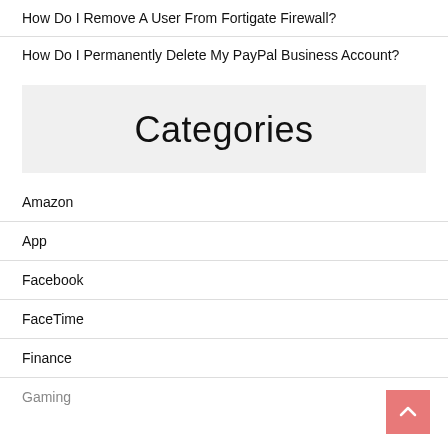How Do I Remove A User From Fortigate Firewall?
How Do I Permanently Delete My PayPal Business Account?
Categories
Amazon
App
Facebook
FaceTime
Finance
Gaming